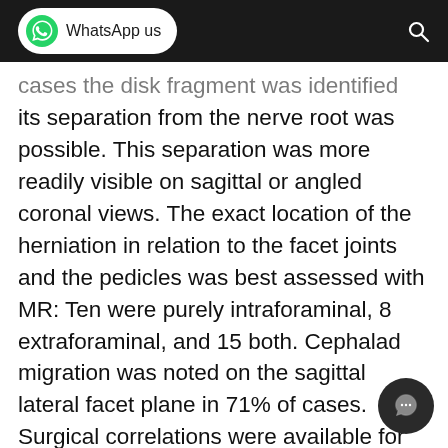WhatsApp us
cases the disk fragment was identified and its separation from the nerve root was possible. This separation was more readily visible on sagittal or angled coronal views. The exact location of the herniation in relation to the facet joints and the pedicles was best assessed with MR: Ten were purely intraforaminal, 8 extraforaminal, and 15 both. Cephalad migration was noted on the sagittal lateral facet plane in 71% of cases. Surgical correlations were available for 25 disks. Three were falsely positive for disk herniation. Enlarged foraminal veins were responsible for this appearance as confirmed by surgery in two of these. When a prediction of disruption of the lateral